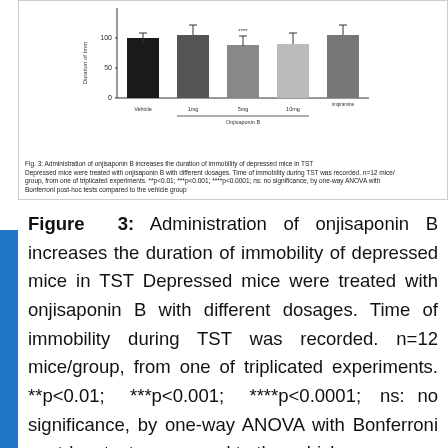[Figure (bar-chart): Administration of onjisaponin B increases the duration of immobility of depressed mice in TST]
Fig. 3: Administration of onjisaponin B increases the duration of immobility of depressed mice in TST Depressed mice were treated with onjisaponin B with different dosages. Time of immobility during TST was recorded. n=12 mice/group, from one of triplicated experiments. **p<0.01; ***p<0.001; ****p<0.0001; ns: no significance, by one-way ANOVA with Bonferroni post-hoc tests compared to the vehicle group
Figure 3: Administration of onjisaponin B increases the duration of immobility of depressed mice in TST Depressed mice were treated with onjisaponin B with different dosages. Time of immobility during TST was recorded. n=12 mice/group, from one of triplicated experiments. **p<0.01; ***p<0.001; ****p<0.0001; ns: no significance, by one-way ANOVA with Bonferroni post-hoc tests compared to the vehicle group